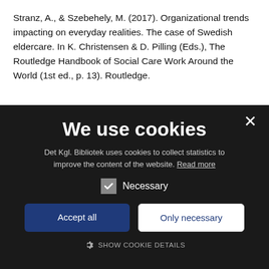Stranz, A., & Szebehely, M. (2017). Organizational trends impacting on everyday realities. The case of Swedish eldercare. In K. Christensen & D. Pilling (Eds.), The Routledge Handbook of Social Care Work Around the World (1st ed., p. 13). Routledge.
[Figure (screenshot): Cookie consent dialog overlay with dark background. Title 'We use cookies', description text, Necessary checkbox, Accept all and Only necessary buttons, and SHOW COOKIE DETAILS link with gear icon.]